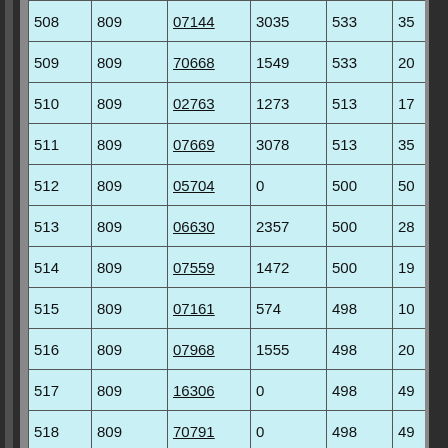|  |  |  |  |  |  |
| --- | --- | --- | --- | --- | --- |
| 508 | 809 | 07144 | 3035 | 533 | 35 |
| 509 | 809 | 70668 | 1549 | 533 | 20 |
| 510 | 809 | 02763 | 1273 | 513 | 17 |
| 511 | 809 | 07669 | 3078 | 513 | 35 |
| 512 | 809 | 05704 | 0 | 500 | 50 |
| 513 | 809 | 06630 | 2357 | 500 | 28 |
| 514 | 809 | 07559 | 1472 | 500 | 19 |
| 515 | 809 | 07161 | 574 | 498 | 10 |
| 516 | 809 | 07968 | 1555 | 498 | 20 |
| 517 | 809 | 16306 | 0 | 498 | 49 |
| 518 | 809 | 70791 | 0 | 498 | 49 |
| 519 | 809 | 70940 | 334 | 498 | 83 |
| 520 | 809 | 70466 | 768 | 490 | 12 |